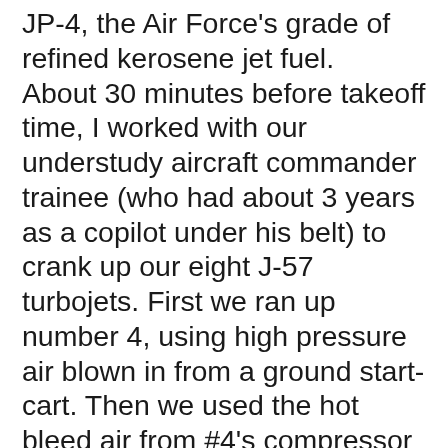JP-4, the Air Force's grade of refined kerosene jet fuel. About 30 minutes before takeoff time, I worked with our understudy aircraft commander trainee (who had about 3 years as a copilot under his belt) to crank up our eight J-57 turbojets. First we ran up number 4, using high pressure air blown in from a ground start-cart. Then we used the hot bleed air from #4's compressor to rev up the remaining seven engines.  Soon we had all eight jets singing their bell-like notes at steady idle. My aircraft commander was soon ready to run up the throttles to taxi clear of our parking spot. One problem: the crew chief and his